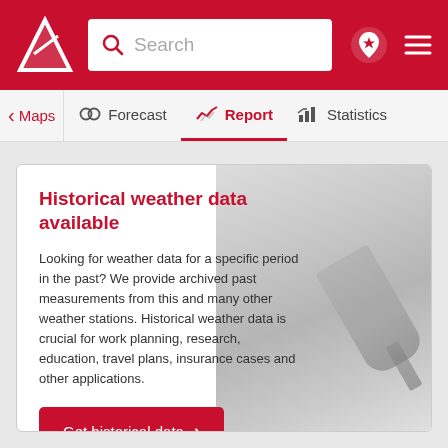Weather service website header with logo, search bar, location and menu icons
[Figure (screenshot): Navigation bar with Maps, Forecast, Report (active), Statistics tabs]
Historical weather data available
Looking for weather data for a specific period in the past? We provide archived past measurements from this and many other weather stations. Historical weather data is crucial for work planning, research, education, travel plans, insurance cases and other applications.
Get historical data